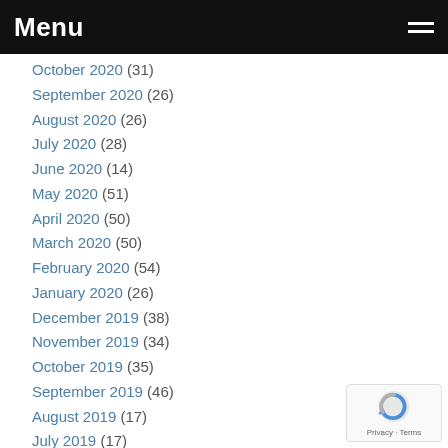Menu
October 2020 (31)
September 2020 (26)
August 2020 (26)
July 2020 (28)
June 2020 (14)
May 2020 (51)
April 2020 (50)
March 2020 (50)
February 2020 (54)
January 2020 (26)
December 2019 (38)
November 2019 (34)
October 2019 (35)
September 2019 (46)
August 2019 (17)
July 2019 (17)
June 2019 (20)
May 2019 (39)
[Figure (logo): reCAPTCHA badge with Privacy and Terms links]